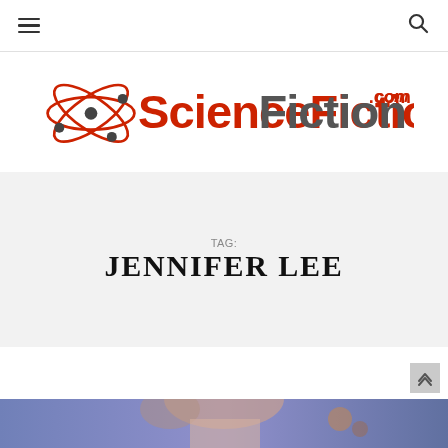ScienceFiction.com navigation bar with hamburger menu and search icon
[Figure (logo): ScienceFiction.com logo with red orbital atom graphic and bold red/gray text]
TAG: JENNIFER LEE
[Figure (photo): Partial photo of a person at the bottom of the page, colorful background]